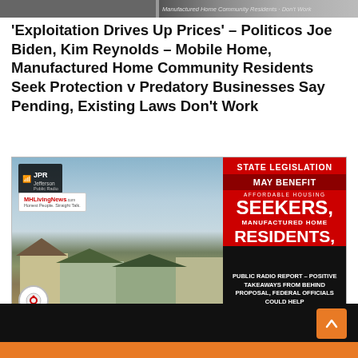[Figure (screenshot): Top strip showing partial images of article thumbnails from news website]
'Exploitation Drives Up Prices' – Politicos Joe Biden, Kim Reynolds – Mobile Home, Manufactured Home Community Residents Seek Protection v Predatory Businesses Say Pending, Existing Laws Don't Work
[Figure (photo): Composite image: left side shows photo of manufactured homes along a street with a JPR Jefferson Public Radio badge and MHLivingNews logo overlay; right side shows red background with text: STATE LEGISLATION MAY BENEFIT AFFORDABLE HOUSING SEEKERS, MANUFACTURED HOME RESIDENTS, PUBLIC RADIO REPORT – POSITIVE TAKEAWAYS FROM BEHIND PROPOSAL, FEDERAL OFFICIALS COULD HELP]
State Legislation May Benefit Affordable Housing Seekers, Manufactured Home Residents, Public Radio Report – Positive Takeaways from Behind Proposal, Federal Officials Could Help
[Figure (screenshot): Bottom black video player strip with orange scroll-to-top button]